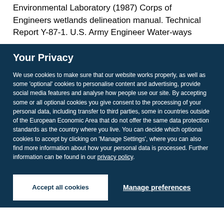Environmental Laboratory (1987) Corps of Engineers wetlands delineation manual. Technical Report Y-87-1. U.S. Army Engineer Water-ways
Your Privacy
We use cookies to make sure that our website works properly, as well as some 'optional' cookies to personalise content and advertising, provide social media features and analyse how people use our site. By accepting some or all optional cookies you give consent to the processing of your personal data, including transfer to third parties, some in countries outside of the European Economic Area that do not offer the same data protection standards as the country where you live. You can decide which optional cookies to accept by clicking on 'Manage Settings', where you can also find more information about how your personal data is processed. Further information can be found in our privacy policy.
Accept all cookies
Manage preferences